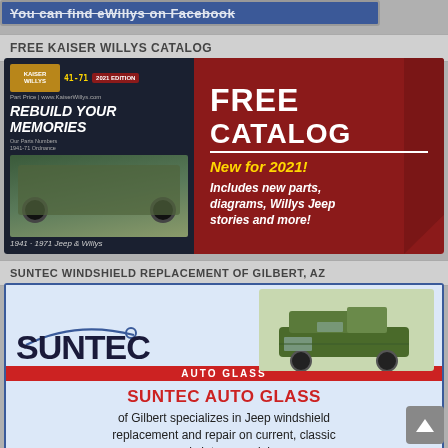[Figure (other): Facebook bar with text 'You can find eWillys on Facebook']
FREE KAISER WILLYS CATALOG
[Figure (illustration): Kaiser Willys 2021 Edition catalog advertisement. Left side shows catalog cover with 'REBUILD YOUR MEMORIES' and a Willys Jeep image, '1941-1971 Jeep & Willys'. Right side on dark red background reads 'FREE CATALOG' with 'New for 2021! Includes new parts, diagrams, Willys Jeep stories and more!']
SUNTEC WINDSHIELD REPLACEMENT OF GILBERT, AZ
[Figure (illustration): Suntec Auto Glass advertisement showing the Suntec logo with a vintage Willys Jeep image above, a red bar reading AUTO GLASS, then on light blue background: SUNTEC AUTO GLASS in red bold text, followed by 'of Gilbert specializes in Jeep windshield replacement and repair on current, classic and vintage models']